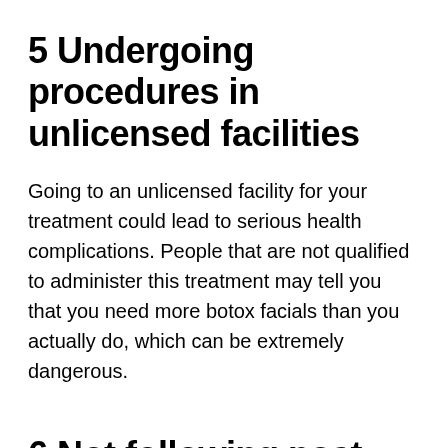5 Undergoing procedures in unlicensed facilities
Going to an unlicensed facility for your treatment could lead to serious health complications. People that are not qualified to administer this treatment may tell you that you need more botox facials than you actually do, which can be extremely dangerous.
6.Not following post-procedure directions